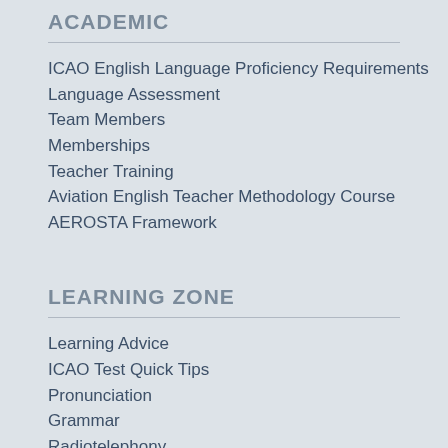ACADEMIC
ICAO English Language Proficiency Requirements
Language Assessment
Team Members
Memberships
Teacher Training
Aviation English Teacher Methodology Course
AEROSTA Framework
LEARNING ZONE
Learning Advice
ICAO Test Quick Tips
Pronunciation
Grammar
Radiotelephony
ICAO English Test Questions
Technical Interview Questions